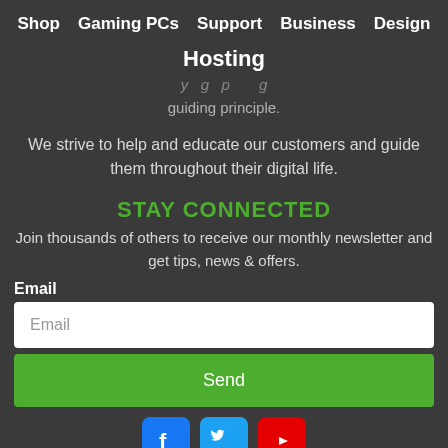Shop  Gaming PCs  Support  Business  Design
Hosting
guiding principle.
We strive to help and educate our customers and guide them throughout their digital life.
STAY CONNECTED
Join thousands of others to receive our monthly newsletter and get tips, news & offers.
Email
Email (input field placeholder)
Send
[Figure (infographic): Social media icons: Facebook (blue), Twitter (blue), YouTube (red)]